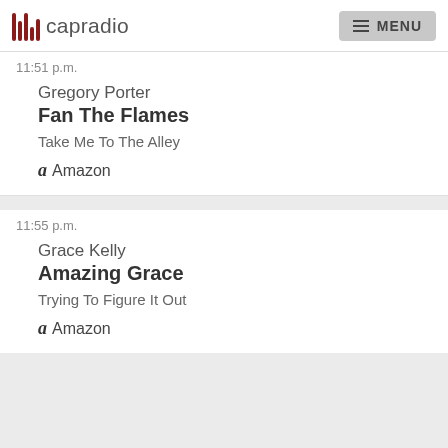capradio MENU
11:51 p.m.
Gregory Porter
Fan The Flames
Take Me To The Alley
Amazon
11:55 p.m.
Grace Kelly
Amazing Grace
Trying To Figure It Out
Amazon